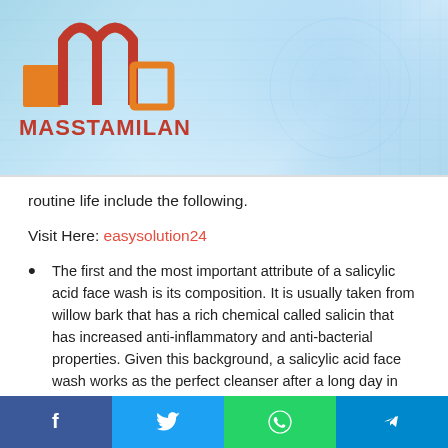MASSTAMILAN
routine life include the following.
Visit Here: easysolution24
The first and the most important attribute of a salicylic acid face wash is its composition. It is usually taken from willow bark that has a rich chemical called salicin that has increased anti-inflammatory and anti-bacterial properties. Given this background, a salicylic acid face wash works as the perfect cleanser after a long day in the open.
The second benefit of using a salicylic acid face wash is that it is also a natural exfoliant. Due to this reason, the
Facebook | Twitter | WhatsApp | Telegram